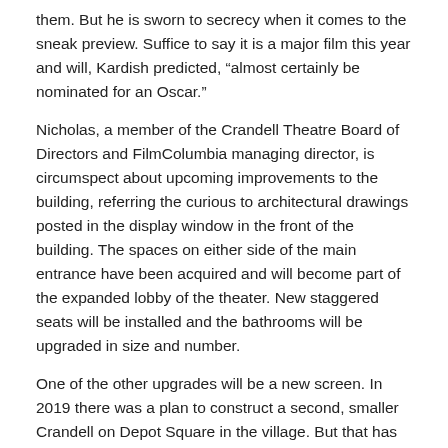them. But he is sworn to secrecy when it comes to the sneak preview. Suffice to say it is a major film this year and will, Kardish predicted, “almost certainly be nominated for an Oscar.”
Nicholas, a member of the Crandell Theatre Board of Directors and FilmColumbia managing director, is circumspect about upcoming improvements to the building, referring the curious to architectural drawings posted in the display window in the front of the building. The spaces on either side of the main entrance have been acquired and will become part of the expanded lobby of the theater. New staggered seats will be installed and the bathrooms will be upgraded in size and number.
One of the other upgrades will be a new screen. In 2019 there was a plan to construct a second, smaller Crandell on Depot Square in the village. But that has been set aside indefinitely, as the board sees how people go back to the movies after pandemic cautions ease.
Share this:
Facebook | Twitter | Email | Print